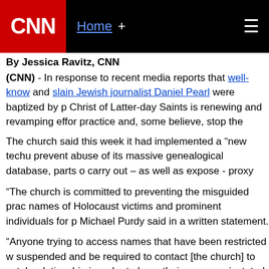CNN | Home +
By Jessica Ravitz, CNN
(CNN) - In response to recent media reports that well-known and slain Jewish journalist Daniel Pearl were baptized by proxy, The Church of Jesus Christ of Latter-day Saints is renewing and revamping efforts to curb the practice and, some believe, stop the attention.
The church said this week it had implemented a "new technology" to prevent abuse of its massive genealogical database, parts of which are used to carry out – as well as expose - proxy baptisms.
"The church is committed to preventing the misguided practice of submitting names of Holocaust victims and prominent individuals for proxy baptism," Michael Purdy said in a written statement.
“Anyone trying to access names that have been restricted will have their access suspended and be required to contact [the church] to establish an appropriate relationship in order to have their access reinstated. Abuse of this policy means the permanent loss of database access."
CNN's Belief Blog: The faith also locked the door to avoid...